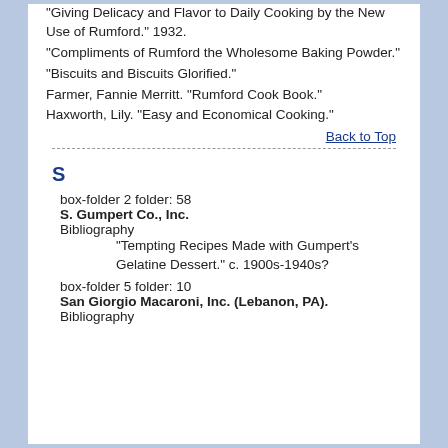"Giving Delicacy and Flavor to Daily Cooking by the New Use of Rumford." 1932.
"Compliments of Rumford the Wholesome Baking Powder."
"Biscuits and Biscuits Glorified."
Farmer, Fannie Merritt. "Rumford Cook Book."
Haxworth, Lily. "Easy and Economical Cooking."
Back to Top
S
box-folder 2 folder: 58
S. Gumpert Co., Inc.
Bibliography
"Tempting Recipes Made with Gumpert's Gelatine Dessert." c. 1900s-1940s?
box-folder 5 folder: 10
San Giorgio Macaroni, Inc. (Lebanon, PA).
Bibliography